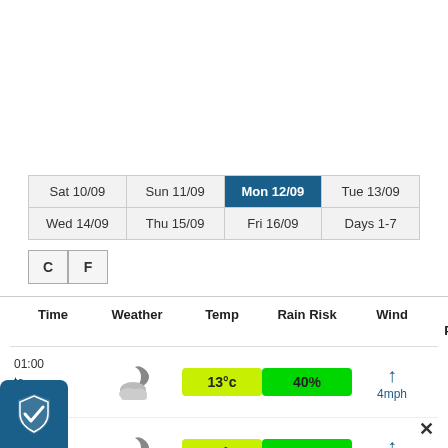| Sat 10/09 | Sun 11/09 | Mon 12/09 | Tue 13/09 | Wed 14/09 | Thu 15/09 | Fri 16/09 | Days 1-7 |
| --- | --- | --- | --- | --- | --- | --- | --- |
| Sat 10/09 | Sun 11/09 | Mon 12/09 (active) | Tue 13/09 |
| Wed 14/09 | Thu 15/09 | Fri 16/09 | Days 1-7 |
| Time | Weather | Temp | Rain Risk | Wind | Air Pressure |
| --- | --- | --- | --- | --- | --- |
| 01:00 to 04:00 | [cloud/moon icon] | 13°c | 40% | ↑ 4mph | 1013mb |
| [cut off] | [cloud/moon icon] | 13°c | 40% | ↑ 4mph | 1013mb |